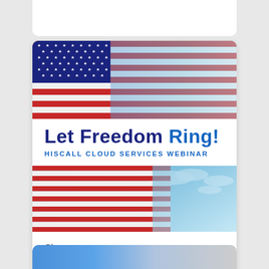[Figure (illustration): US flag with blue sky background — top banner of webinar card]
LET FREEDOM RING!
HISCALL CLOUD SERVICES WEBINAR
[Figure (illustration): US flag with blue sky background — bottom banner of webinar card]
Blog
6/22/22 Let Freedom Ring – Hiscall Cloud Webinar